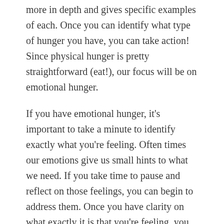more in depth and gives specific examples of each. Once you can identify what type of hunger you have, you can take action! Since physical hunger is pretty straightforward (eat!), our focus will be on emotional hunger.
If you have emotional hunger, it's important to take a minute to identify exactly what you're feeling. Often times our emotions give us small hints to what we need. If you take time to pause and reflect on those feelings, you can begin to address them. Once you have clarity on what exactly it is that you're feeling, you can find an alternative to food that can meet your emotional need:
Are you feeling lonely? Take a few minutes to talk to a coworker or schedule a friend date.